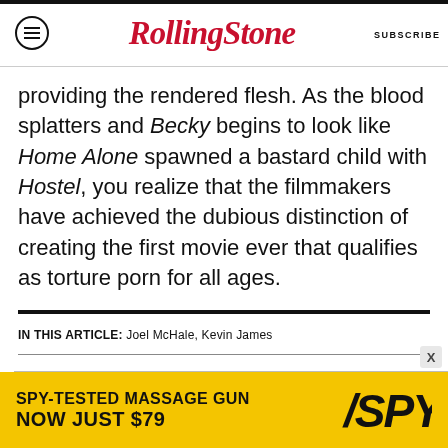RollingStone | SUBSCRIBE
providing the rendered flesh. As the blood splatters and Becky begins to look like Home Alone spawned a bastard child with Hostel, you realize that the filmmakers have achieved the dubious distinction of creating the first movie ever that qualifies as torture porn for all ages.
IN THIS ARTICLE:  Joel McHale,  Kevin James
TV & MOVIES > TV & MOVIES REVIEWS
[Figure (other): Advertisement banner: SPY-TESTED MASSAGE GUN NOW JUST $79 with SPY logo on yellow background]